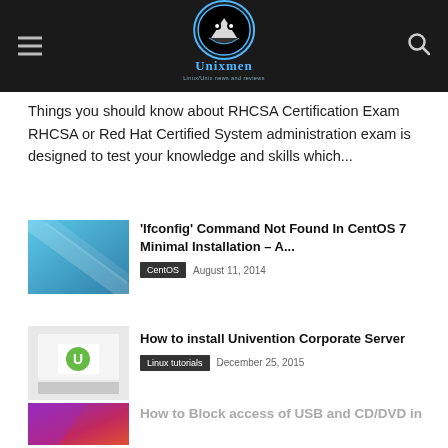Unixmen — Linux/Unix news and reviews
Things you should know about RHCSA Certification Exam RHCSA or Red Hat Certified System administration exam is designed to test your knowledge and skills which...
[Figure (screenshot): Blue abstract background thumbnail for ifconfig article]
'Ifconfig' Command Not Found In CentOS 7 Minimal Installation – A...
CentOS   August 11, 2014
[Figure (screenshot): Univention Corporate Server logo on grey background thumbnail]
How to install Univention Corporate Server
Linux tutorials   December 25, 2015
[Figure (screenshot): Ubuntu 15.04 purple gradient background thumbnail]
Top Things To Do After Installing Ubuntu 15.04
Linux distributions   April 22, 2015
[Figure (photo): Partially visible thumbnail for USB/CD-DVD article]
How to Block access of USB and CD/DVD in